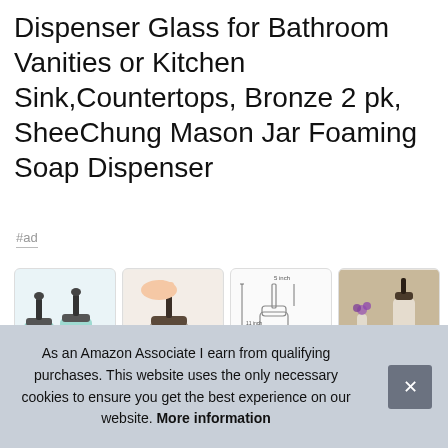Dispenser Glass for Bathroom Vanities or Kitchen Sink,Countertops, Bronze 2 pk, SheeChung Mason Jar Foaming Soap Dispenser
#ad
[Figure (photo): Four product photos of mason jar soap dispensers: (1) two teal glass dispensers with bronze pumps and hang tags, (2) hand pressing a pump dispenser, (3) dimension diagram with measurements, (4) lifestyle shot with decorative items on wooden surface]
She
no h
no q
As an Amazon Associate I earn from qualifying purchases. This website uses the only necessary cookies to ensure you get the best experience on our website. More information